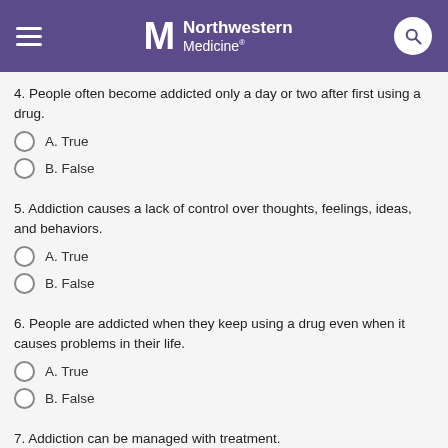Northwestern Medicine
4. People often become addicted only a day or two after first using a drug.
A. True
B. False
5. Addiction causes a lack of control over thoughts, feelings, ideas, and behaviors.
A. True
B. False
6. People are addicted when they keep using a drug even when it causes problems in their life.
A. True
B. False
7. Addiction can be managed with treatment.